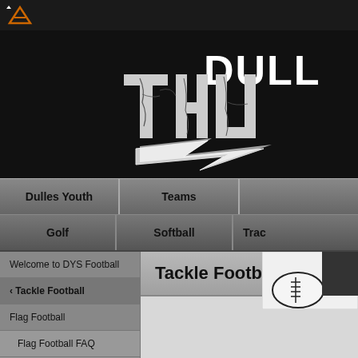[Figure (logo): Logo icon in dark top bar]
[Figure (illustration): Dulles Thunder youth football banner with cracked stone effect text and lightning bolt graphic]
Dulles Youth | Teams | (more)
Golf | Softball | Trac(k)
Welcome to DYS Football
< Tackle Football
Flag Football
Flag Football FAQ
Important Dates
Player Registration
Tackle Football
[Figure (illustration): American football with partial black rectangle overlay, bottom right of content area]